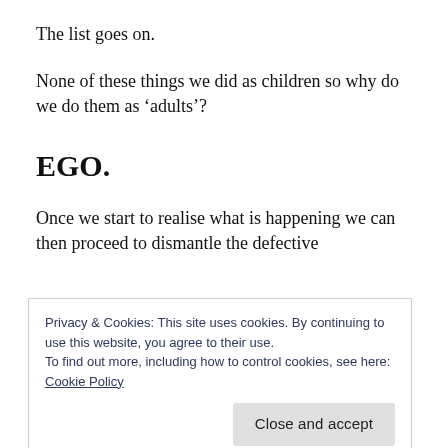The list goes on.
None of these things we did as children so why do we do them as ‘adults’?
EGO.
Once we start to realise what is happening we can then proceed to dismantle the defective
Privacy & Cookies: This site uses cookies. By continuing to use this website, you agree to their use.
To find out more, including how to control cookies, see here:
Cookie Policy
stopped instantaneously, but the moment you